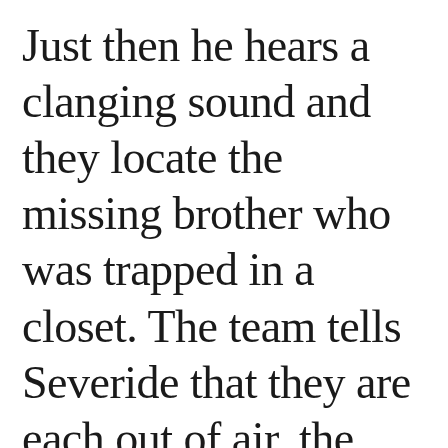Just then he hears a clanging sound and they locate the missing brother who was trapped in a closet. The team tells Severide that they are each out of air, the boat shifts, debris